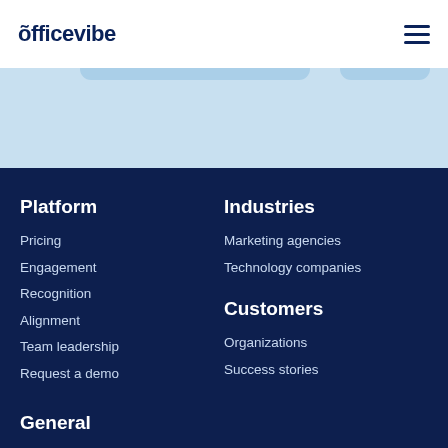officevibe
Platform
Pricing
Engagement
Recognition
Alignment
Team leadership
Request a demo
Industries
Marketing agencies
Technology companies
Customers
Organizations
Success stories
General